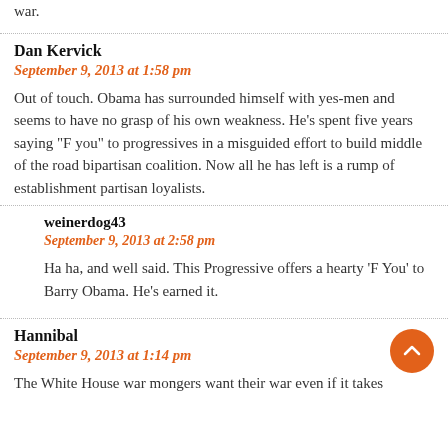war.
Dan Kervick
September 9, 2013 at 1:58 pm
Out of touch. Obama has surrounded himself with yes-men and seems to have no grasp of his own weakness. He’s spent five years saying “F you” to progressives in a misguided effort to build middle of the road bipartisan coalition. Now all he has left is a rump of establishment partisan loyalists.
weinerdog43
September 9, 2013 at 2:58 pm
Ha ha, and well said. This Progressive offers a hearty ‘F You’ to Barry Obama. He’s earned it.
Hannibal
September 9, 2013 at 1:14 pm
The White House war mongers want their war even if it takes